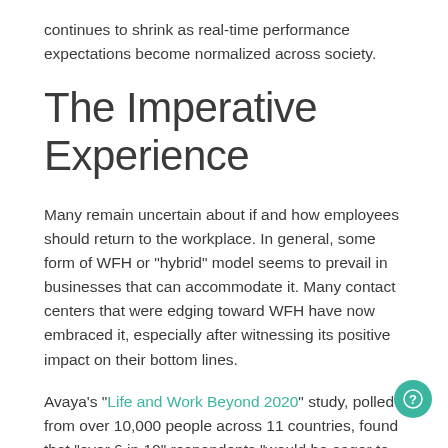continues to shrink as real-time performance expectations become normalized across society.
The Imperative Experience
Many remain uncertain about if and how employees should return to the workplace. In general, some form of WFH or "hybrid" model seems to prevail in businesses that can accommodate it. Many contact centers that were edging toward WFH have now embraced it, especially after witnessing its positive impact on their bottom lines.
Avaya's "Life and Work Beyond 2020" study, polled from over 10,000 people across 11 countries, found that "over 6 in 10" respondents "would be eager to